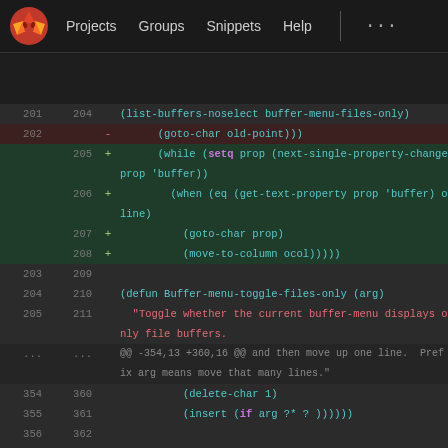Projects  Groups  Snippets  Help  ...
[Figure (screenshot): GitLab diff view showing code changes to an Emacs Lisp buffer menu file. Lines 201-362 shown with additions (green) and deletions (red). Changed lines include goto-char, while/setq/next-single-property-change, when/eq/get-text-property, goto-char prop, move-to-column, defun Buffer-menu-toggle-files-only, and insert/delete-char functions.]